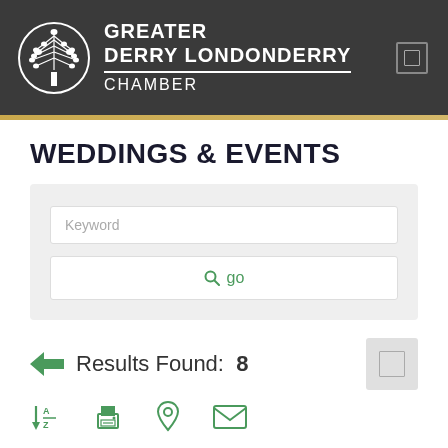[Figure (logo): Greater Derry Londonderry Chamber logo with tree emblem in circular design on dark header background]
WEDDINGS & EVENTS
[Figure (screenshot): Search interface with Keyword input field and go button]
Results Found:  8
[Figure (infographic): Sort A-Z icon, Print icon, Location pin icon, Email/envelope icon]